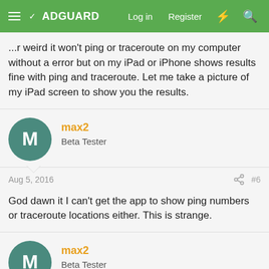ADGUARD — Log in  Register
...error but on my iPad or iPhone shows results fine with ping and traceroute. Let me take a picture of my iPad screen to show you the results.
max2
Beta Tester
Aug 5, 2016  #6
God dawn it I can't get the app to show ping numbers or traceroute locations either. This is strange.
max2
Beta Tester